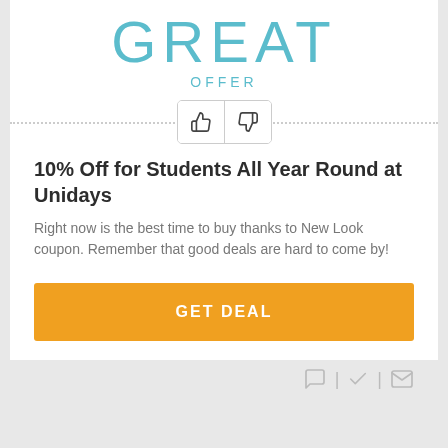GREAT
OFFER
[Figure (illustration): Thumbs up and thumbs down icon buttons in a rounded rectangle, flanked by dotted horizontal lines]
10% Off for Students All Year Round at Unidays
Right now is the best time to buy thanks to New Look coupon. Remember that good deals are hard to come by!
[Figure (illustration): Orange GET DEAL button]
[Figure (illustration): Row of grey icons: speech bubble, checkmark, envelope, separated by vertical bars]